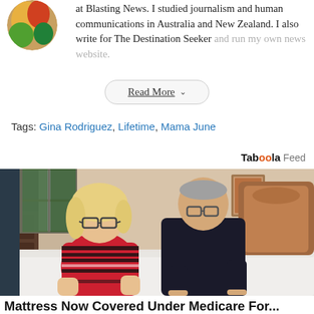[Figure (photo): Circular avatar/profile photo showing colorful food or vegetables]
at Blasting News. I studied journalism and human communications in Australia and New Zealand. I also write for The Destination Seeker and run my own news website.
Read More ∨
Tags: Gina Rodriguez, Lifetime, Mama June
Taboola Feed
[Figure (photo): An older couple leaning over a mattress in a bedroom. The woman on the left has short blonde hair and wears glasses and a striped sweater. The man behind wears a dark polo shirt. There is a wooden headboard and framed picture on the wall.]
Mattress Now Covered Under Medicare For...